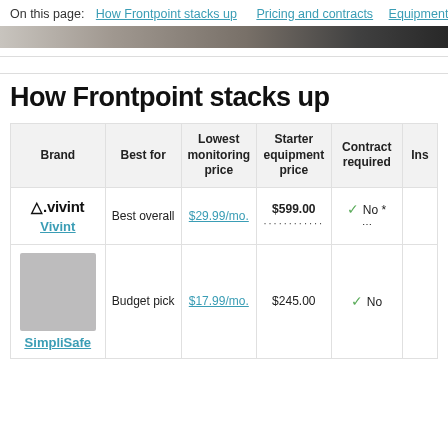On this page: How Frontpoint stacks up  Pricing and contracts  Equipment
[Figure (photo): Partial hero image, close-up photo cropped at top]
How Frontpoint stacks up
| Brand | Best for | Lowest monitoring price | Starter equipment price | Contract required | Ins |
| --- | --- | --- | --- | --- | --- |
| Vivint | Best overall | $29.99/mo. | $599.00 | No * |  |
| SimpliSafe | Budget pick | $17.99/mo. | $245.00 | No |  |